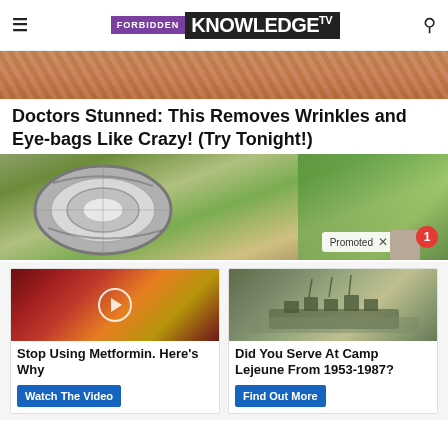FORBIDDEN KNOWLEDGE TV
[Figure (photo): Partial close-up photo of a person's face/skin at the top of the page]
Doctors Stunned: This Removes Wrinkles and Eye-bags Like Crazy! (Try Tonight!)
[Figure (photo): Close-up of a metal ball bearing on a rocky outdoor surface with green foliage in background. Shows 'Promoted X' label and notification badge with number 1.]
[Figure (photo): Ad thumbnail: close-up of what appears to be a parasite or worm with a play button circle overlay]
Stop Using Metformin. Here's Why
Watch The Video
[Figure (photo): Ad thumbnail: military soldiers in camouflage on a vehicle]
Did You Serve At Camp Lejeune From 1953-1987?
Find Out More